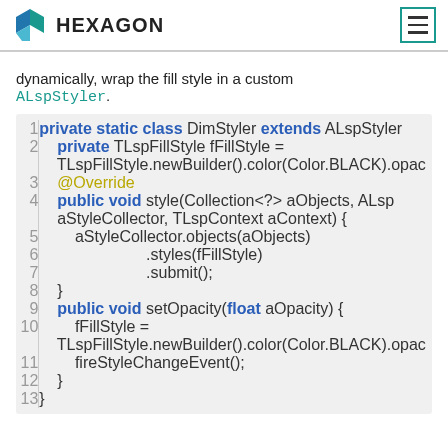HEXAGON
dynamically, wrap the fill style in a custom ALspStyler.
[Figure (screenshot): Java code block showing a private static class DimStyler extends ALspStyler with methods style() and setOpacity()]